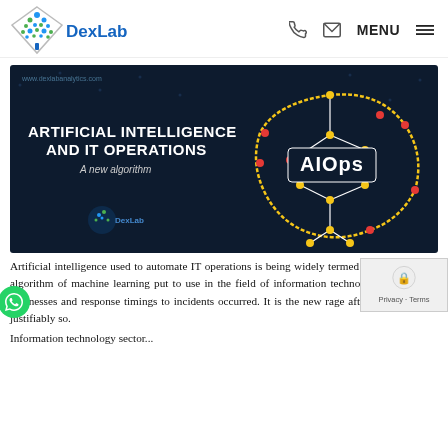DexLab Analytics — MENU
[Figure (illustration): Dark navy background promotional banner. Left side shows white bold text 'ARTIFICIAL INTELLIGENCE AND IT OPERATIONS' with subtitle 'A new algorithm' and DexLab logo below. Right side shows a glowing brain circuit diagram with colorful yellow and red nodes labeled 'AIOps'. Top-left watermark: www.dexlabanalytics.com]
Artificial intelligence used to automate IT operations is being widely termed as AIOps, a new algorithm of machine learning put to use in the field of information technology to speed up businesses and response timings to incidents occurred. It is the new rage after AI itself. And, justifiably so.
Information technology sector...